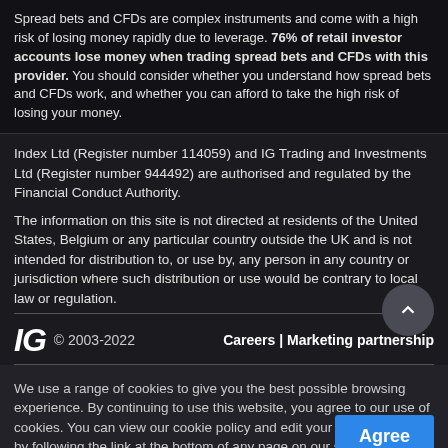Spread bets and CFDs are complex instruments and come with a high risk of losing money rapidly due to leverage. 76% of retail investor accounts lose money when trading spread bets and CFDs with this provider. You should consider whether you understand how spread bets and CFDs work, and whether you can afford to take the high risk of losing your money.
Index Ltd (Register number 114059) and IG Trading and Investments Ltd (Register number 944492) are authorised and regulated by the Financial Conduct Authority.
The information on this site is not directed at residents of the United States, Belgium or any particular country outside the UK and is not intended for distribution to, or use by, any person in any country or jurisdiction where such distribution or use would be contrary to local law or regulation.
IG © 2003-2022    Careers | Marketing partnership
We use a range of cookies to give you the best possible browsing experience. By continuing to use this website, you agree to our use of cookies. You can view our cookie policy and edit your settings here, or by following the link at the bottom of any page on our site.